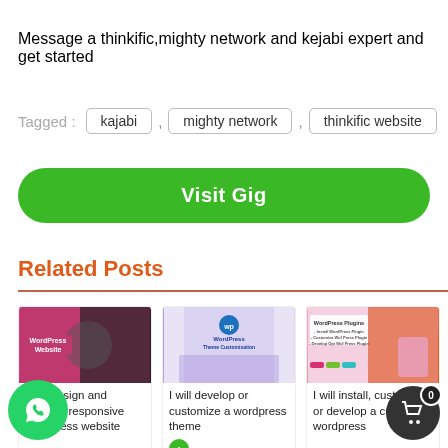Message a thinkific,mighty network and kejabi expert and get started
Tagged : kajabi , mighty network , thinkific website
Visit Gig
Related Posts
[Figure (screenshot): Three related post cards showing WordPress website design, WordPress theme customization, and WordPress plugin services]
I will design and develop responsive wordpress website
I will develop or customize a wordpress theme
I will install, customize or develop a custom wordpress